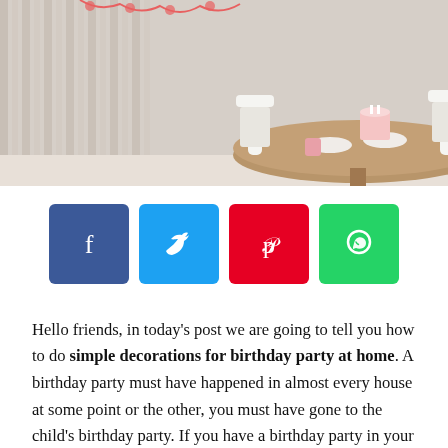[Figure (photo): Birthday party table setting with a round wooden table, white chairs, pink birthday cake, plates and decorations in a room with a white cabinet and curtained background]
[Figure (infographic): Social sharing buttons: Facebook (blue), Twitter (light blue), Pinterest (red), WhatsApp (green)]
Hello friends, in today's post we are going to tell you how to do simple decorations for birthday party at home. A birthday party must have happened in almost every house at some point or the other, you must have gone to the child's birthday party. If you have a birthday party in your house and you decorate your house well, then we will tell you the easiest way by which you can decorate your birthday room.
If you are looking for some simple decoration ideas for your child's next birthday party, then this article is for you! We will